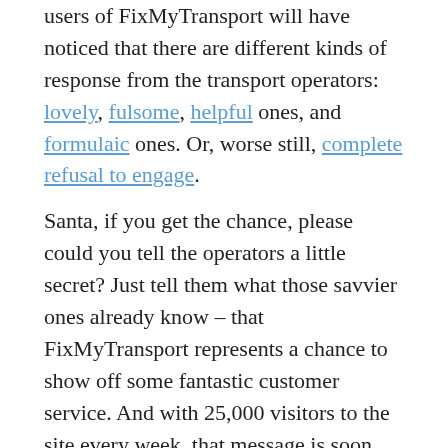users of FixMyTransport will have noticed that there are different kinds of response from the transport operators: lovely, fulsome, helpful ones, and formulaic ones. Or, worse still, complete refusal to engage.
Santa, if you get the chance, please could you tell the operators a little secret? Just tell them what those savvier ones already know – that FixMyTransport represents a chance to show off some fantastic customer service. And with 25,000 visitors to the site every week, that message is soon spread far and wide.
(more...)
# data, donate, emptyhomes, freedom of information, fun, geodata, hansard, open data, Parliament, parliamentary monitoring, problem reporting, public transport, social, volunteers